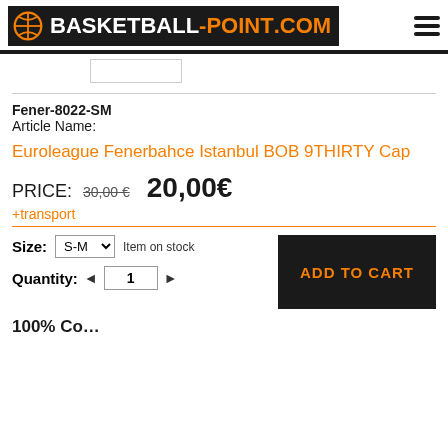[Figure (logo): Basketball-Point.com logo with basketball icon on dark background with orange accent]
Fener-8022-SM
Article Name:
Euroleague Fenerbahce Istanbul BOB 9THIRTY Cap
PRICE: 30,00 € 20,00€
+transport
Size: S-M  Item on stock
Quantity: ◄ 1 ►
ADD TO CART
100% Co…